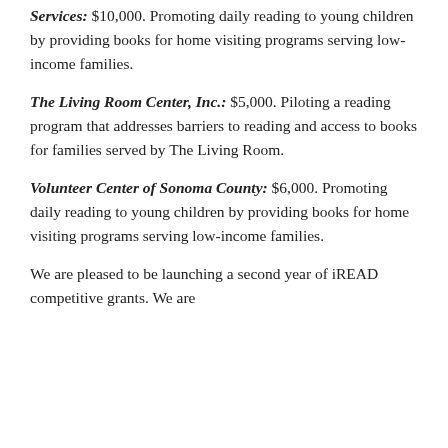Services: $10,000. Promoting daily reading to young children by providing books for home visiting programs serving low-income families.
The Living Room Center, Inc.: $5,000. Piloting a reading program that addresses barriers to reading and access to books for families served by The Living Room.
Volunteer Center of Sonoma County: $6,000. Promoting daily reading to young children by providing books for home visiting programs serving low-income families.
We are pleased to be launching a second year of iREAD competitive grants. We are